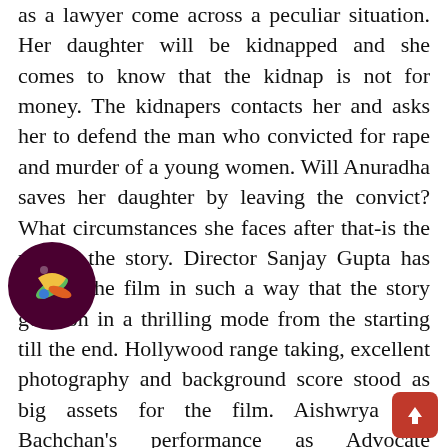as a lawyer come across a peculiar situation. Her daughter will be kidnapped and she comes to know that the kidnap is not for money. The kidnapers contacts her and asks her to defend the man who convicted for rape and murder of a young women. Will Anuradha saves her daughter by leaving the convict? What circumstances she faces after that-is the rest of the story. Director Sanjay Gupta has crafted the film in such a way that the story goes on in a thrilling mode from the starting till the end. Hollywood range taking, excellent photography and background score stood as big assets for the film. Aishwrya Rai Bachchan's performance as Advocate Anuradha Varma stood as highlight for the film. Irrfan who shown his acting mettle in the films like t World' and 'Life of Pie', has played a key role in this film. Shabana Azmi, Jackie Shroff, Atul Kulkarni and Abhimanyu Singh and some others have played important roles. Baby Sara Arjun, who appeared in
[Figure (logo): Circular dark maroon logo with colorful worm/banana-like shapes inside]
[Figure (other): Red upload button with upward arrow icon]